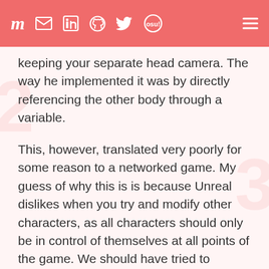m [mail] [linkedin] [github] [twitter] [osu!] [menu]
keeping your separate head camera. The way he implemented it was by directly referencing the other body through a variable.
This, however, translated very poorly for some reason to a networked game. My guess of why this is is because Unreal dislikes when you try and modify other characters, as all characters should only be in control of themselves at all points of the game. We should have tried to maybe work in the other direction by readjusting your camera always to instead be on your opponent's head, but Alex already